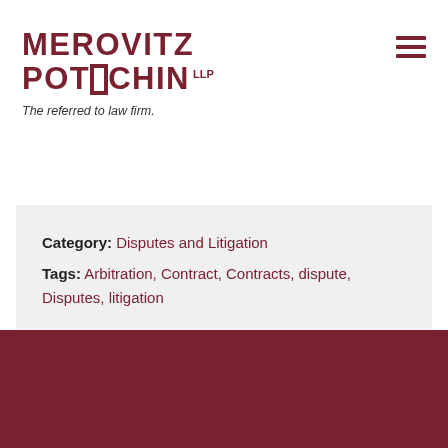MEROVITZ POTECHIN LLP
The referred to law firm.
Category: Disputes and Litigation
Tags: Arbitration, Contract, Contracts, dispute, Disputes, litigation
READ MORE